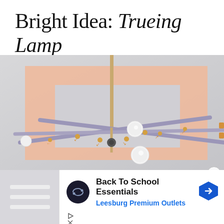Bright Idea: Trueing Lamp
[Figure (photo): Overhead photo of a modern chandelier lamp with lavender/purple metal arms extending outward, gold accent joints, and white globe bulbs. A salmon/peach colored rectangular frame overlay is superimposed on the photo.]
[Figure (infographic): Advertisement banner for 'Back To School Essentials' by Leesburg Premium Outlets, featuring a dark circular logo with infinity-like symbol, bold headline text, blue subtitle, and a blue navigation arrow icon. Below the ad are play and close control icons.]